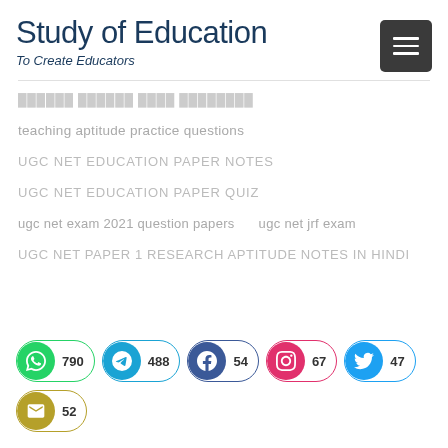Study of Education — To Create Educators
(partially visible/faded navigation item)
teaching aptitude practice questions
UGC NET EDUCATION PAPER NOTES
UGC NET EDUCATION PAPER QUIZ
ugc net exam 2021 question papers   ugc net jrf exam
UGC NET PAPER 1 RESEARCH APTITUDE NOTES IN HINDI
[Figure (infographic): Social media share/follow buttons: WhatsApp 790, Telegram 488, Facebook 54, Instagram 67, Twitter 47, Email 52]